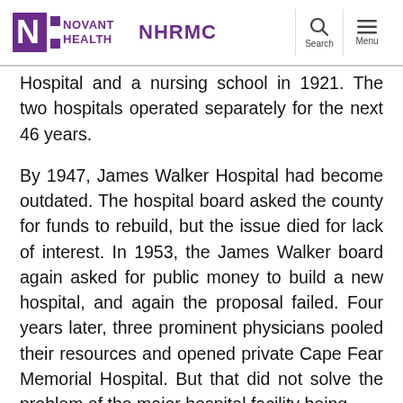Novant Health NHRMC
Hospital and a nursing school in 1921. The two hospitals operated separately for the next 46 years.
By 1947, James Walker Hospital had become outdated. The hospital board asked the county for funds to rebuild, but the issue died for lack of interest. In 1953, the James Walker board again asked for public money to build a new hospital, and again the proposal failed. Four years later, three prominent physicians pooled their resources and opened private Cape Fear Memorial Hospital. But that did not solve the problem of the major hospital facility being